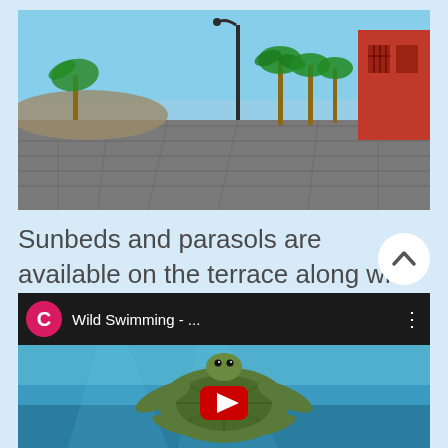[Figure (photo): Outdoor beach promenade with cobblestone path, palm trees, a street lamp, and a red building on the right under a clear blue sky.]
Sunbeds and parasols are available on the terrace along with foot showers on the beach. I love diving from the key into the swirling waters at high tide and swimming with the turtles.
[Figure (screenshot): YouTube video thumbnail showing a sea turtle underwater, with video titled 'Wild Swimming - ...' and a channel avatar with letter C on pink background.]